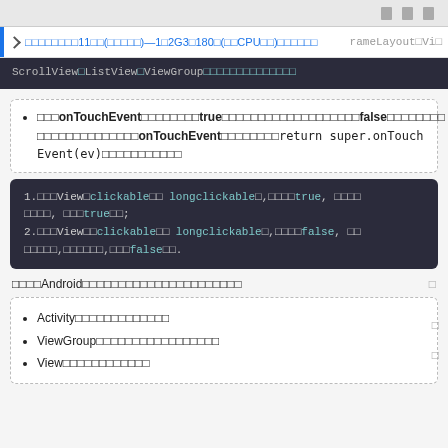□ □ □
□ □□□□□□□11□□(□□□□□)—1□2G3□180□(□□CPU□□)□□□□□□ rameLayout□Vi□ ScrollView□ListView□ViewGroup□□□□□□□□□□□□□□
□□□onTouchEvent□□□□□□□□true□□□□□□□□□□□□□□□□□□□false□□□□□□□□□ □□□□□□□□□□□□□□onTouchEvent□□□□□□□□return super.onTouchEvent(ev)□□□□□□□□□□□
[Figure (screenshot): Code block showing two numbered items about View clickable and longclickable properties set to true and false]
□□□□Android□□□□□□□□□□□□□□□□□□□□□□
Activity□□□□□□□□□□□□□
ViewGroup□□□□□□□□□□□□□□□□□
View□□□□□□□□□□□□